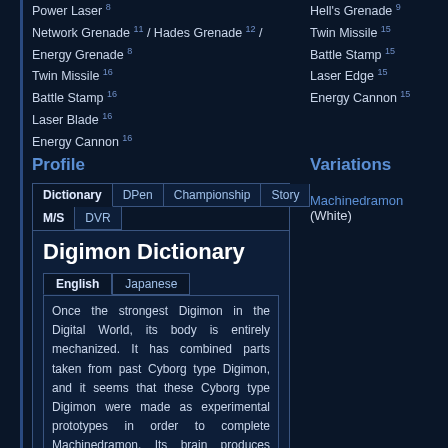Power Laser 8
Network Grenade 11 / Hades Grenade 12 / Energy Grenade 8
Twin Missile 16
Battle Stamp 16
Laser Blade 16
Energy Cannon 16
Hell's Grenade 9
Twin Missile 15
Battle Stamp 15
Laser Edge 15
Energy Cannon 15
Profile
Variations
Machinedramon (White)
Digimon Dictionary
Once the strongest Digimon in the Digital World, its body is entirely mechanized. It has combined parts taken from past Cyborg type Digimon, and it seems that these Cyborg type Digimon were made as experimental prototypes in order to complete Machinedramon. Its brain produces enough processing power to overwhelm other